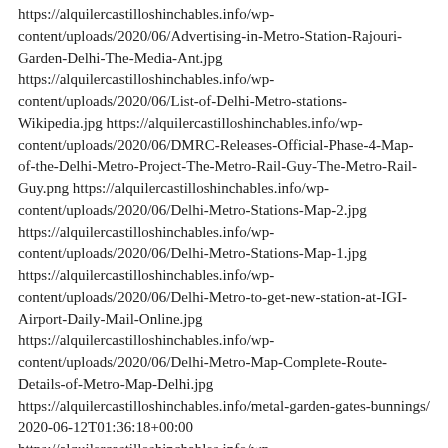https://alquilercastilloshinchables.info/wp-content/uploads/2020/06/Advertising-in-Metro-Station-Rajouri-Garden-Delhi-The-Media-Ant.jpg https://alquilercastilloshinchables.info/wp-content/uploads/2020/06/List-of-Delhi-Metro-stations-Wikipedia.jpg https://alquilercastilloshinchables.info/wp-content/uploads/2020/06/DMRC-Releases-Official-Phase-4-Map-of-the-Delhi-Metro-Project-The-Metro-Rail-Guy-The-Metro-Rail-Guy.png https://alquilercastilloshinchables.info/wp-content/uploads/2020/06/Delhi-Metro-Stations-Map-2.jpg https://alquilercastilloshinchables.info/wp-content/uploads/2020/06/Delhi-Metro-Stations-Map-1.jpg https://alquilercastilloshinchables.info/wp-content/uploads/2020/06/Delhi-Metro-to-get-new-station-at-IGI-Airport-Daily-Mail-Online.jpg https://alquilercastilloshinchables.info/wp-content/uploads/2020/06/Delhi-Metro-Map-Complete-Route-Details-of-Metro-Map-Delhi.jpg https://alquilercastilloshinchables.info/metal-garden-gates-bunnings/ 2020-06-12T01:36:18+00:00 https://alquilercastilloshinchables.info/wp-content/uploads/2020/06/The-Grange-Decorative-Gates-853-x-900mm-Mosman-Low-Gate-Bunnings-....jpg https://alquilercastilloshinchables.info/wp-content/uploads/2020/06/Masterworks-1220-x-40-x-1575mm-